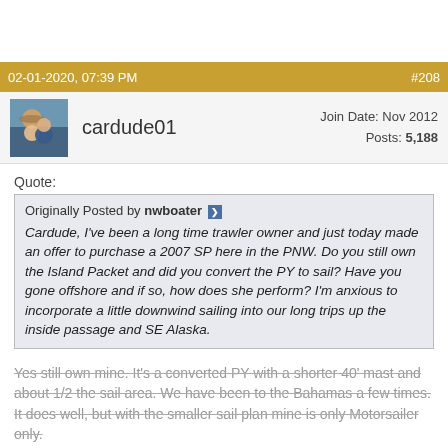02-01-2020, 07:39 PM   #208
cardude01   Join Date: Nov 2012   Posts: 5,188
Quote:
Originally Posted by nwboater
Cardude, I've been a long time trawler owner and just today made an offer to purchase a 2007 SP here in the PNW. Do you still own the Island Packet and did you convert the PY to sail? Have you gone offshore and if so, how does she perform? I'm anxious to incorporate a little downwind sailing into our long trips up the inside passage and SE Alaska.
Yes still own mine. It's a converted PY with a shorter 40' mast and about 1/2 the sail area. We have been to the Bahamas a few times. It does well, but with the smaller sail plan mine is only Motorsailer only.